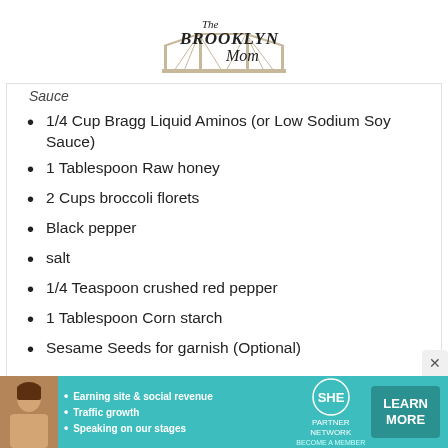The Brooklyn Mom
Sauce
1/4 Cup Bragg Liquid Aminos (or Low Sodium Soy Sauce)
1 Tablespoon Raw honey
2 Cups broccoli florets
Black pepper
salt
1/4 Teaspoon crushed red pepper
1 Tablespoon Corn starch
Sesame Seeds for garnish (Optional)
Instructions
[Figure (infographic): Advertisement banner for SHE Partner Network with teal background, woman photo, bullet points: Earning site & social revenue, Traffic growth, Speaking on our stages, SHE logo, LEARN MORE button]